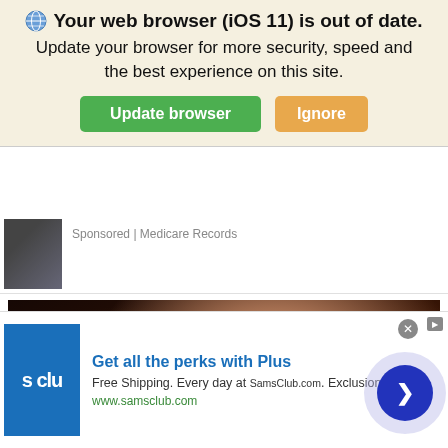[Figure (screenshot): Browser update notification banner with globe icon, text 'Your web browser (iOS 11) is out of date. Update your browser for more security, speed and the best experience on this site.' with green 'Update browser' button and orange 'Ignore' button.]
Sponsored | Medicare Records
[Figure (photo): A video thumbnail showing hands handling what appears to be paper or fabric, dark background with warm tones.]
[Figure (screenshot): Sam's Club advertisement banner: logo 's clu' in blue, text 'Get all the perks with Plus', 'Free Shipping. Every day at SamsClub.com. Exclusions apply.', 'www.samsclub.com', with a blue arrow circle button on the right.]